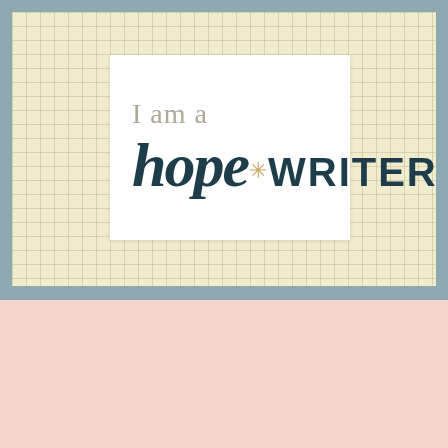[Figure (logo): Hope*Writer logo badge on yellow grid background. Text reads 'I am a' in light gray above large script/display text 'hope*WRITER' in dark teal, with a gold asterisk between 'hope' and 'WRITER'.]
Top Posts & Pages
Ethiopia Tikdem!
To the Mom Who is Saying Goodbye...
Choose One Word for 2018 (simple reasons, reminders